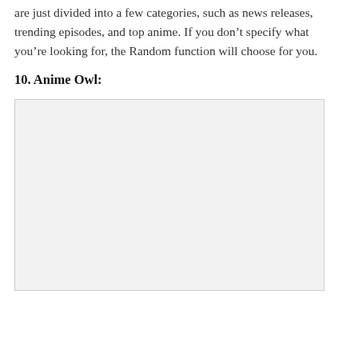are just divided into a few categories, such as news releases, trending episodes, and top anime. If you don’t specify what you’re looking for, the Random function will choose for you.
10. Anime Owl:
[Figure (photo): A large light gray placeholder image box representing an Anime Owl screenshot or image.]